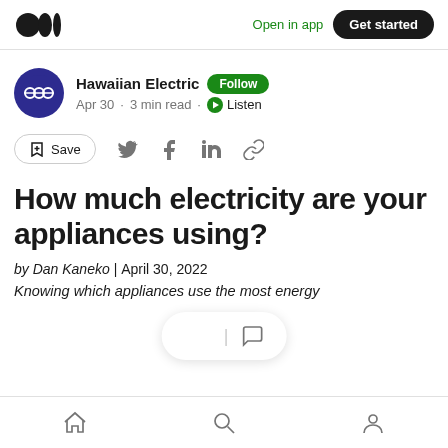Open in app  Get started
Hawaiian Electric  Follow
Apr 30 · 3 min read · Listen
Save
How much electricity are your appliances using?
by Dan Kaneko | April 30, 2022
Knowing which appliances use the most energy
Home  Search  Profile